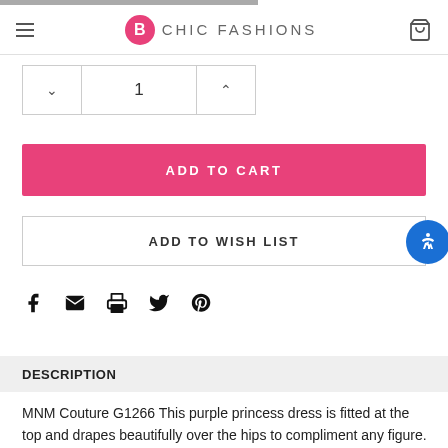B CHIC FASHIONS
[Figure (screenshot): Quantity selector with down arrow, value 1, and up arrow]
ADD TO CART
ADD TO WISH LIST
[Figure (illustration): Social share icons: Facebook, Email, Print, Twitter, Pinterest]
DESCRIPTION
MNM Couture G1266 This purple princess dress is fitted at the top and drapes beautifully over the hips to compliment any figure. The large pleats are met with an opening at the front of the skirt